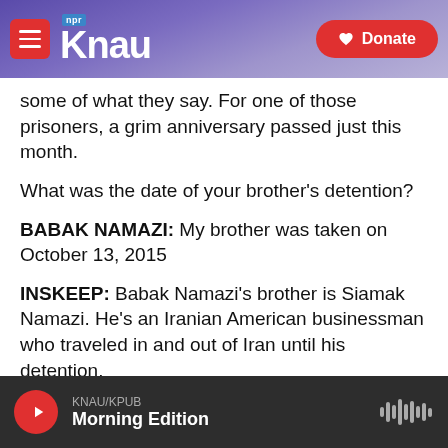KNAU NPR / Donate
some of what they say. For one of those prisoners, a grim anniversary passed just this month.
What was the date of your brother's detention?
BABAK NAMAZI: My brother was taken on October 13, 2015
INSKEEP: Babak Namazi's brother is Siamak Namazi. He's an Iranian American businessman who traveled in and out of Iran until his detention.
You must have had no idea, even when you first heard the news, that you would still be in this
KNAU/KPUB  Morning Edition